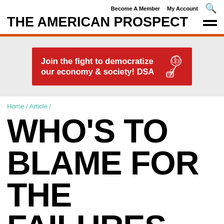THE AMERICAN PROSPECT | Become A Member  My Account
[Figure (logo): DSA banner ad: 'Join the fight to democratize our economy & society! DSA' on red background with DSA rose logo]
Home / Article /
WHO'S TO BLAME FOR THE FAILURES OF